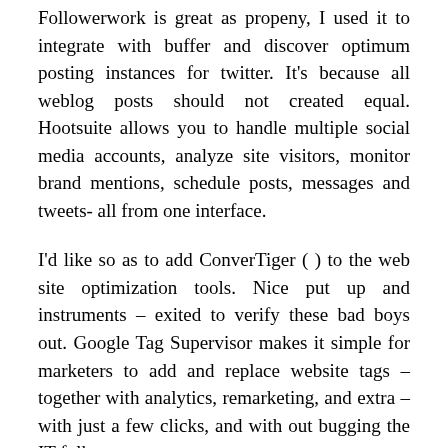Followerwork is great as propeny, I used it to integrate with buffer and discover optimum posting instances for twitter. It's because all weblog posts should not created equal. Hootsuite allows you to handle multiple social media accounts, analyze site visitors, monitor brand mentions, schedule posts, messages and tweets- all from one interface.
I'd like so as to add ConverTiger ( ) to the web site optimization tools. Nice put up and instruments – exited to verify these bad boys out. Google Tag Supervisor makes it simple for marketers to add and replace website tags – together with analytics, remarketing, and extra – with just a few clicks, and with out bugging the IT folks.